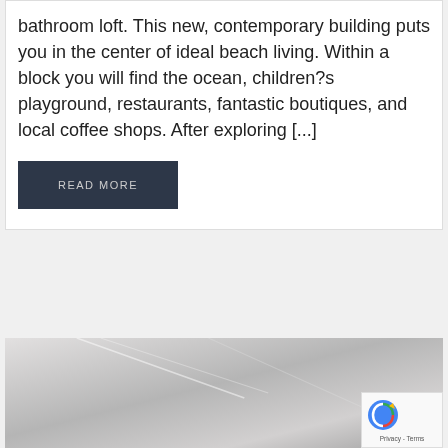bathroom loft. This new, contemporary building puts you in the center of ideal beach living. Within a block you will find the ocean, children?s playground, restaurants, fantastic boutiques, and local coffee shops. After exploring [...]
READ MORE
[Figure (photo): Interior photo of a bright room, partially visible, showing white walls and ceiling details.]